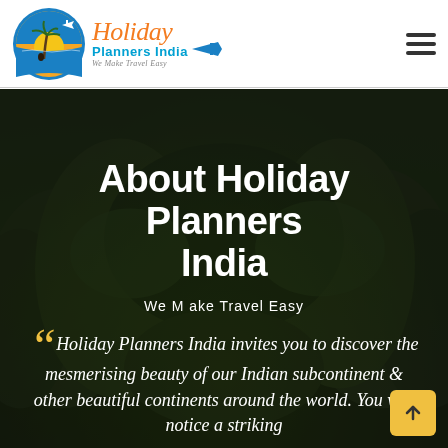[Figure (logo): Holiday Planners India logo with circular tropical scene (palm tree, sunset, airplane) and text 'Holiday Planners India - We Make Travel Easy']
[Figure (other): Hamburger menu icon (three horizontal lines) in top right corner]
[Figure (photo): Aerial view of lush green forested landscape, dark moody background]
About Holiday Planners India
We Make Travel Easy
“Holiday Planners India invites you to discover the mesmerising beauty of our Indian subcontinent & other beautiful continents around the world. You will notice a striking